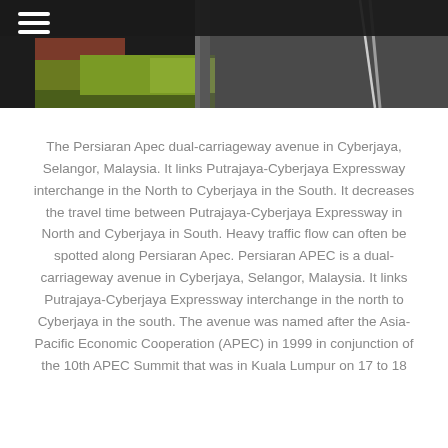[Figure (photo): Aerial/ground-level photo of the Persiaran Apec dual-carriageway road in Cyberjaya, Malaysia, with green grass and vegetation on the side, against a dark header bar with a hamburger menu icon.]
The Persiaran Apec dual-carriageway avenue in Cyberjaya, Selangor, Malaysia. It links Putrajaya-Cyberjaya Expressway interchange in the North to Cyberjaya in the South. It decreases the travel time between Putrajaya-Cyberjaya Expressway in North and Cyberjaya in South. Heavy traffic flow can often be spotted along Persiaran Apec. Persiaran APEC is a dual-carriageway avenue in Cyberjaya, Selangor, Malaysia. It links Putrajaya-Cyberjaya Expressway interchange in the north to Cyberjaya in the south. The avenue was named after the Asia-Pacific Economic Cooperation (APEC) in 1999 in conjunction of the 10th APEC Summit that was in Kuala Lumpur on 17 to 18